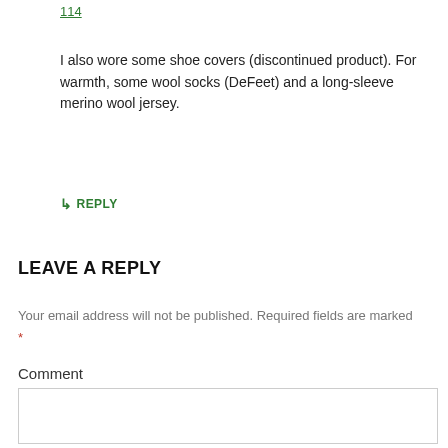114
I also wore some shoe covers (discontinued product). For warmth, some wool socks (DeFeet) and a long-sleeve merino wool jersey.
↳ REPLY
LEAVE A REPLY
Your email address will not be published. Required fields are marked *
Comment